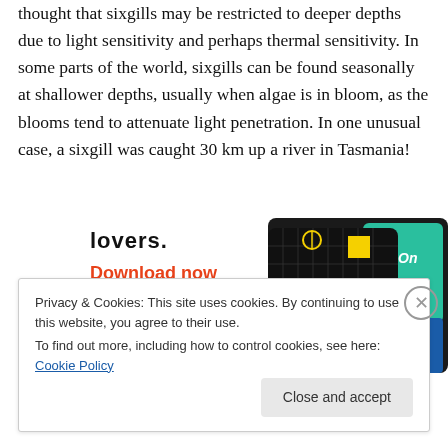thought that sixgills may be restricted to deeper depths due to light sensitivity and perhaps thermal sensitivity. In some parts of the world, sixgills can be found seasonally at shallower depths, usually when algae is in bloom, as the blooms tend to attenuate light penetration. In one unusual case, a sixgill was caught 30 km up a river in Tasmania!
[Figure (infographic): Advertisement banner showing 'lovers.' text in bold, 'Download now' in red, and a podcast app image showing '99% INVISIBLE' on a dark grid background with colorful cards]
Privacy & Cookies: This site uses cookies. By continuing to use this website, you agree to their use.
To find out more, including how to control cookies, see here: Cookie Policy
Close and accept